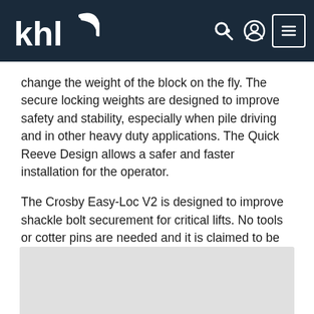KHL navigation header with logo, search, account, and menu icons
change the weight of the block on the fly. The secure locking weights are designed to improve safety and stability, especially when pile driving and in other heavy duty applications. The Quick Reeve Design allows a safer and faster installation for the operator.
The Crosby Easy-Loc V2 is designed to improve shackle bolt securement for critical lifts. No tools or cotter pins are needed and it is claimed to be around 40 per cent lighter than traditional securing methods. Its 316 grade stainless steel construction resists corrosion and the design reduces installation and release time by up to 90 %, Crosby says.
[Figure (photo): Grey rectangular placeholder area for an image at the bottom of the page]